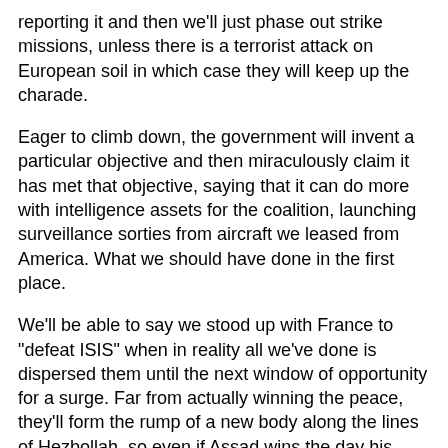reporting it and then we'll just phase out strike missions, unless there is a terrorist attack on European soil in which case they will keep up the charade.
Eager to climb down, the government will invent a particular objective and then miraculously claim it has met that objective, saying that it can do more with intelligence assets for the coalition, launching surveillance sorties from aircraft we leased from America. What we should have done in the first place.
We'll be able to say we stood up with France to "defeat ISIS" when in reality all we've done is dispersed them until the next window of opportunity for a surge. Far from actually winning the peace, they'll form the rump of a new body along the lines of Hezbollah, so even if Assad wins the day his authority won't extend to territory where the airspace is controlled by the west.
Because there will be no satisfactory reckoning, there will instead be a low grade civil war that rages for decades much like Lebanon with daily suicide bombings and political